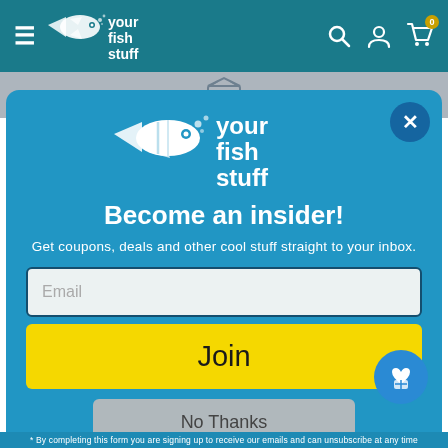[Figure (screenshot): Navigation bar with hamburger menu, Your Fish Stuff logo, search icon, account icon, and cart icon with badge showing 0]
[Figure (logo): Your Fish Stuff logo with fish illustration and text 'your fish stuff' in white on blue background inside modal popup]
Become an insider!
Get coupons, deals and other cool stuff straight to your inbox.
Email
Join
No Thanks
* By completing this form you are signing up to receive our emails and can unsubscribe at any time